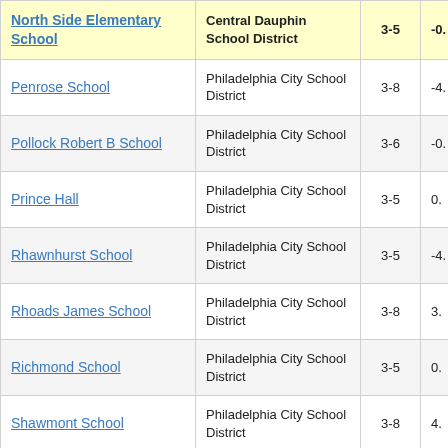| School | District | Grades | Value |
| --- | --- | --- | --- |
| North Side Elementary School | Central Dauphin School District | 3-5 | -0. |
| Penrose School | Philadelphia City School District | 3-8 | -4. |
| Pollock Robert B School | Philadelphia City School District | 3-6 | -0. |
| Prince Hall | Philadelphia City School District | 3-5 | 0. |
| Rhawnhurst School | Philadelphia City School District | 3-5 | -4. |
| Rhoads James School | Philadelphia City School District | 3-8 | 3. |
| Richmond School | Philadelphia City School District | 3-5 | 0. |
| Shawmont School | Philadelphia City School District | 3-8 | 4. |